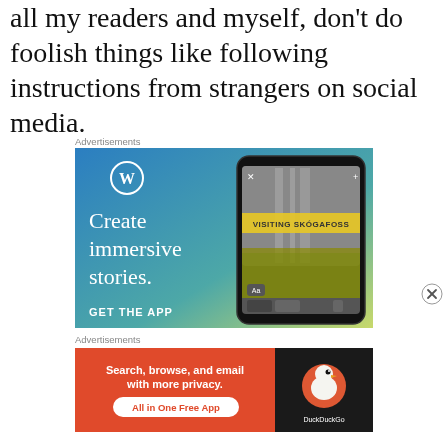all my readers and myself, don't do foolish things like following instructions from strangers on social media.
Advertisements
[Figure (screenshot): WordPress advertisement showing a phone with a waterfall photo labeled 'VISITING SKÓGAFOSS'. Text reads: WordPress logo, 'Create immersive stories.', 'GET THE APP'. Blue-to-green gradient background.]
Advertisements
[Figure (screenshot): DuckDuckGo advertisement with orange/black background. Text: 'Search, browse, and email with more privacy. All in One Free App'. DuckDuckGo logo on right.]